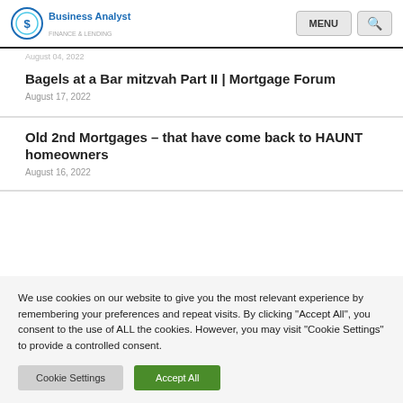Business Analyst | MENU | Search
August 04, 2022
Bagels at a Bar mitzvah Part II | Mortgage Forum
August 17, 2022
Old 2nd Mortgages – that have come back to HAUNT homeowners
August 16, 2022
We use cookies on our website to give you the most relevant experience by remembering your preferences and repeat visits. By clicking "Accept All", you consent to the use of ALL the cookies. However, you may visit "Cookie Settings" to provide a controlled consent.